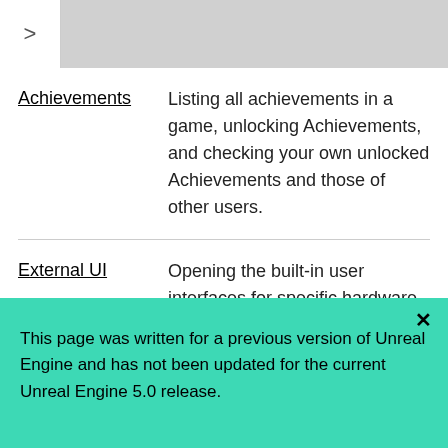>
| Term | Description |
| --- | --- |
| Achievements | Listing all achievements in a game, unlocking Achievements, and checking your own unlocked Achievements and those of other users. |
| External UI | Opening the built-in user interfaces for specific hardware platforms or online services. In some cases, services grant access to |
This page was written for a previous version of Unreal Engine and has not been updated for the current Unreal Engine 5.0 release.